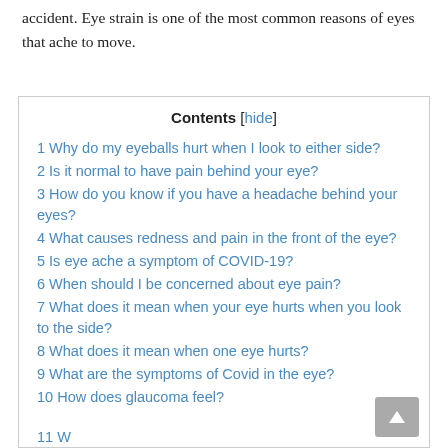accident. Eye strain is one of the most common reasons of eyes that ache to move.
Contents [hide]
1 Why do my eyeballs hurt when I look to either side?
2 Is it normal to have pain behind your eye?
3 How do you know if you have a headache behind your eyes?
4 What causes redness and pain in the front of the eye?
5 Is eye ache a symptom of COVID-19?
6 When should I be concerned about eye pain?
7 What does it mean when your eye hurts when you look to the side?
8 What does it mean when one eye hurts?
9 What are the symptoms of Covid in the eye?
10 How does glaucoma feel?